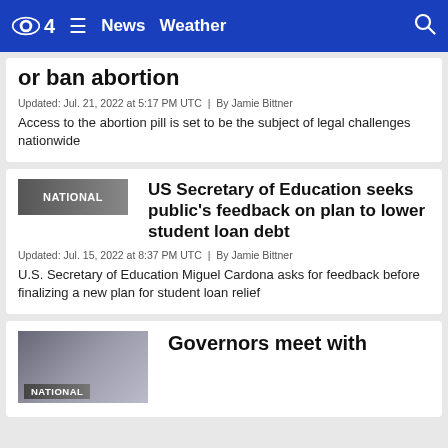CBS4 | News | Weather
or ban abortion
Updated: Jul. 21, 2022 at 5:17 PM UTC  |  By Jamie Bittner
Access to the abortion pill is set to be the subject of legal challenges nationwide
NATIONAL
US Secretary of Education seeks public's feedback on plan to lower student loan debt
Updated: Jul. 15, 2022 at 8:37 PM UTC  |  By Jamie Bittner
U.S. Secretary of Education Miguel Cardona asks for feedback before finalizing a new plan for student loan relief
NATIONAL
Governors meet with